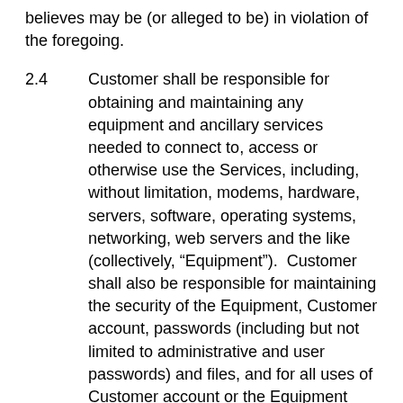believes may be (or alleged to be) in violation of the foregoing.
2.4	Customer shall be responsible for obtaining and maintaining any equipment and ancillary services needed to connect to, access or otherwise use the Services, including, without limitation, modems, hardware, servers, software, operating systems, networking, web servers and the like (collectively, “Equipment”).  Customer shall also be responsible for maintaining the security of the Equipment, Customer account, passwords (including but not limited to administrative and user passwords) and files, and for all uses of Customer account or the Equipment with or without Customer’s knowledge or consent.
3. CONFIDENTIALITY; PROPRIETARY RIGHTS
3.1	Each party (the “Receiving Party”) understands